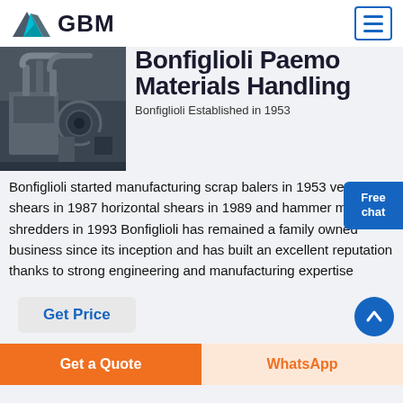GBM
Bonfiglioli Paemo Materials Handling
Bonfiglioli Established in 1953
Bonfiglioli started manufacturing scrap balers in 1953 vertical shears in 1987 horizontal shears in 1989 and hammer mill shredders in 1993 Bonfiglioli has remained a family owned business since its inception and has built an excellent reputation thanks to strong engineering and manufacturing expertise
[Figure (photo): Industrial machinery with pipes and equipment]
Get Price
Get a Quote
WhatsApp